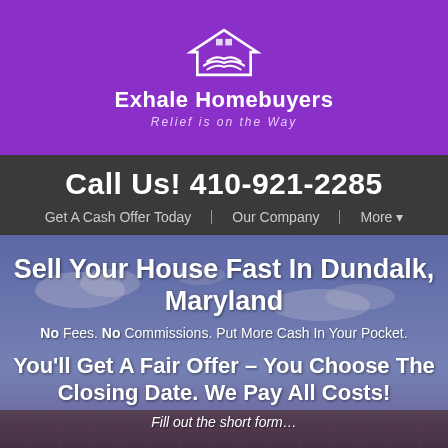[Figure (logo): Exhale Homebuyers logo with handshake icon on purple background, tagline: Relief is on the Way]
Call Us! 410-921-2285
Get A Cash Offer Today
Our Company
More ▾
Sell Your House Fast In Dundalk, Maryland
No Fees. No Commissions. Put More Cash In Your Pocket.
You'll Get A Fair Offer – You Choose The Closing Date. We Pay All Costs!
Fill out the short form…